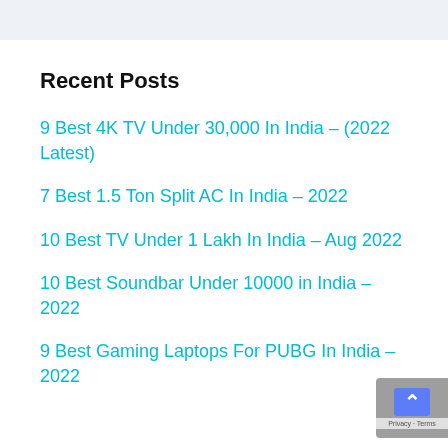Recent Posts
9 Best 4K TV Under 30,000 In India – (2022 Latest)
7 Best 1.5 Ton Split AC In India – 2022
10 Best TV Under 1 Lakh In India – Aug 2022
10 Best Soundbar Under 10000 in India – 2022
9 Best Gaming Laptops For PUBG In India – 2022